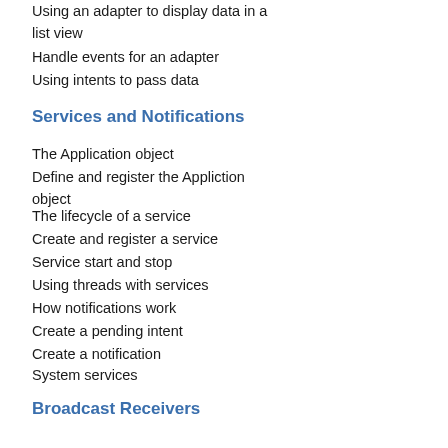Using an adapter to display data in a list view
Handle events for an adapter
Using intents to pass data
Services and Notifications
The Application object
Define and register the Appliction object
The lifecycle of a service
Create and register a service
Service start and stop
Using threads with services
How notifications work
Create a pending intent
Create a notification
System services
Broadcast Receivers
System broadcasts
Custom broadcasts
Create and send a custom broadcast
Coding a receiver for a custom broadcast
SQLite Databases